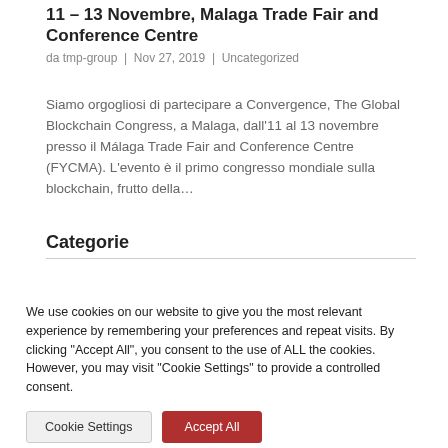11 – 13 Novembre, Malaga Trade Fair and Conference Centre
da tmp-group | Nov 27, 2019 | Uncategorized
Siamo orgogliosi di partecipare a Convergence, The Global Blockchain Congress, a Malaga, dall'11 al 13 novembre presso il Málaga Trade Fair and Conference Centre (FYCMA). L'evento è il primo congresso mondiale sulla blockchain, frutto della…
Categorie
We use cookies on our website to give you the most relevant experience by remembering your preferences and repeat visits. By clicking "Accept All", you consent to the use of ALL the cookies. However, you may visit "Cookie Settings" to provide a controlled consent.